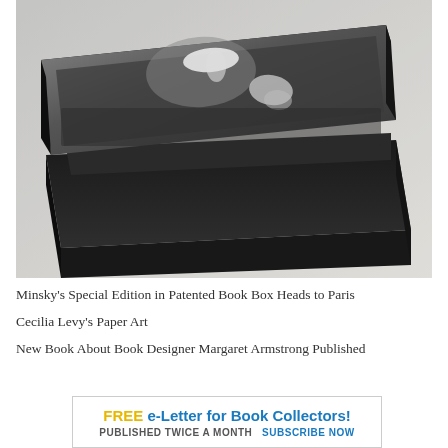[Figure (photo): Black and white photograph of a decorative book box with lid open at an angle, showing a dark cloth-covered box and lid with a black and white photographic image on the lid surface depicting two figures in a field.]
Minsky's Special Edition in Patented Book Box Heads to Paris
Cecilia Levy's Paper Art
New Book About Book Designer Margaret Armstrong Published
[Figure (other): Advertisement banner: FREE e-Letter for Book Collectors! PUBLISHED TWICE A MONTH  SUBSCRIBE NOW]